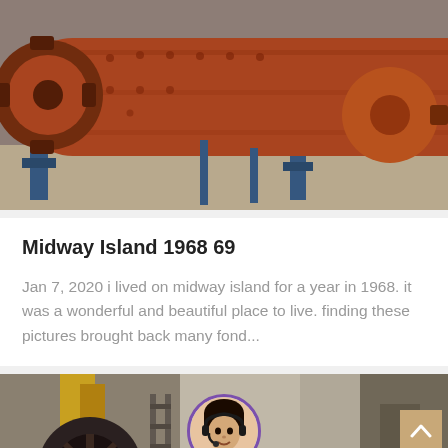[Figure (photo): Industrial machinery photo showing large red/orange cylindrical mill or drum equipment on blue supports in a factory/warehouse setting]
Midway Island 1968 69
Jan 7, 2020 i lived on midway island for a year in 1968. it was a wonderful and beautiful place to live. finding these pictures brought back many fond...
[Figure (photo): Industrial machinery photo showing dark heavy equipment, gears, and industrial structures in a factory setting]
Leave Message  Chat Online